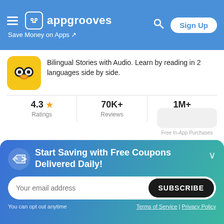appgrooves — Save Money on Apps
Bilingual Stories with Audio. Learn by reading in 2 languages side by side.
4.3 ★  Ratings | 70K+ Reviews | 1M+ Downloads
Free In-App Purchases
10 Learn Languages with Pimsleur
Learn languages like Spanish, French, Japanese & more. Quick language learning.
Start Saving with Free Coupons Delivered Daily!
Your email address | SUBSCRIBE
You can opt out anytime | Terms of Service | Privacy Policy